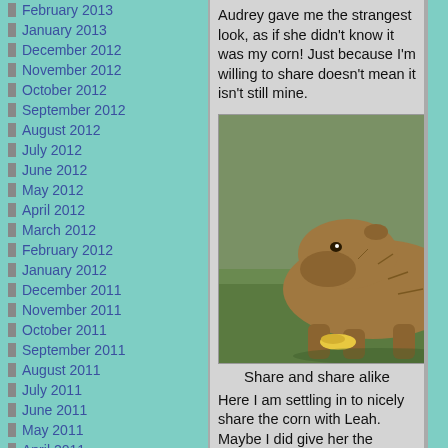February 2013
January 2013
December 2012
November 2012
October 2012
September 2012
August 2012
July 2012
June 2012
May 2012
April 2012
March 2012
February 2012
January 2012
December 2011
November 2011
October 2011
September 2011
August 2011
July 2011
June 2011
May 2011
April 2011
March 2011
February 2011
January 2011
December 2010
Audrey gave me the strangest look, as if she didn't know it was my corn! Just because I'm willing to share doesn't mean it isn't still mine.
[Figure (photo): A capybara bending down to eat corn on the ground on grass]
Share and share alike
Here I am settling in to nicely share the corn with Leah. Maybe I did give her the smaller piece but, hey, it's my corn isn't it? My motto is share and share alike, as long as I get more.